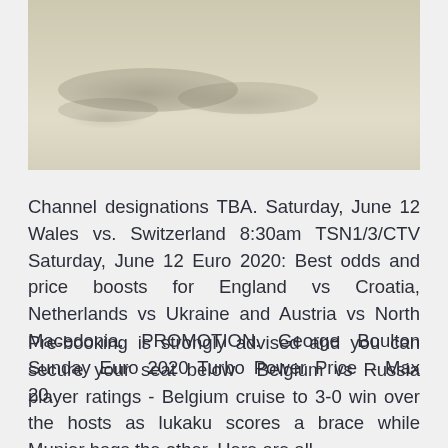[Figure (photo): A faded, washed-out outdoor photograph with muted beige and tan tones, showing an indistinct scene with minimal visible detail.]
Channel designations TBA. Saturday, June 12 Wales vs. Switzerland 8:30am TSN1/3/CTV Saturday, June 12 Euro 2020: Best odds and price boosts for England vs Croatia, Netherlands vs Ukraine and Austria vs North Macedonia. PROMOTION. George Boulton Sunday Euro 2020 Turbo Power Price – Max 20.
Pre-booking is strongly advised and you can secure your seat below  Belgium vs Russia player ratings - Belgium cruise to 3-0 win over the hosts as lukaku scores a brace while Munier bags the other. Here are all